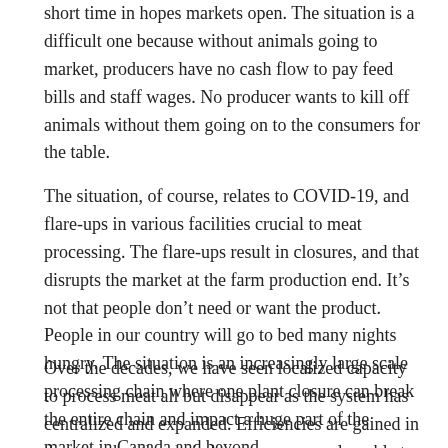short time in hopes markets open. The situation is a difficult one because without animals going to market, producers have no cash flow to pay feed bills and staff wages. No producer wants to kill off animals without them going on to the consumers for the table.
The situation, of course, relates to COVID-19, and flare-ups in various facilities crucial to meat processing. The flare-ups result in closures, and that disrupts the market at the farm production end. It's not that people don't need or want the product. People in our country will go to bed many nights hungry. The situation is an increasingly large scale processing chain where one plant closure can break the entire chain and impact a huge part of the market in Canada and beyond.
Over the decades, we have seen localized capacity to process meat all but disappear as the system has centralized and expanded. Efficiencies are gained in that way, but the chain becomes more vulnerable to situations like the one we face right now too.